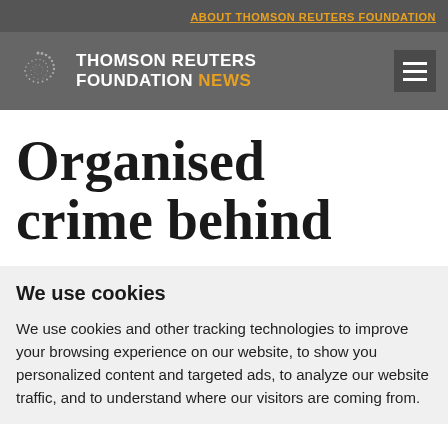ABOUT THOMSON REUTERS FOUNDATION
[Figure (logo): Thomson Reuters Foundation News logo with spiral dot icon, white text and orange NEWS text]
Organised crime behind
We use cookies
We use cookies and other tracking technologies to improve your browsing experience on our website, to show you personalized content and targeted ads, to analyze our website traffic, and to understand where our visitors are coming from.